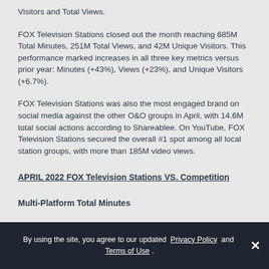Visitors and Total Views.
FOX Television Stations closed out the month reaching 685M Total Minutes, 251M Total Views, and 42M Unique Visitors. This performance marked increases in all three key metrics versus prior year: Minutes (+43%), Views (+23%), and Unique Visitors (+6.7%).
FOX Television Stations was also the most engaged brand on social media against the other O&O groups in April, with 14.6M total social actions according to Shareablee. On YouTube, FOX Television Stations secured the overall #1 spot among all local station groups, with more than 185M video views.
APRIL 2022 FOX Television Stations VS. Competition
Multi-Platform Total Minutes
By using the site, you agree to our updated Privacy Policy and Terms of Use .